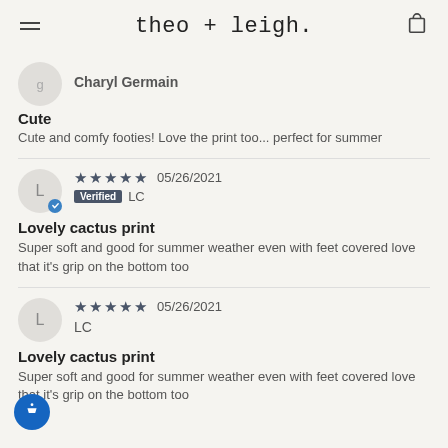theo + leigh.
Charyl Germain
Cute
Cute and comfy footies! Love the print too... perfect for summer
★★★★★ 05/26/2021 Verified LC
Lovely cactus print
Super soft and good for summer weather even with feet covered love that it's grip on the bottom too
★★★★★ 05/26/2021 LC
Lovely cactus print
Super soft and good for summer weather even with feet covered love that it's grip on the bottom too